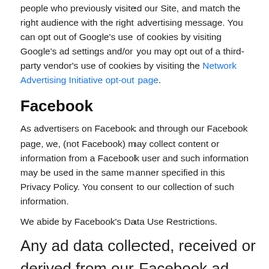people who previously visited our Site, and match the right audience with the right advertising message. You can opt out of Google's use of cookies by visiting Google's ad settings and/or you may opt out of a third-party vendor's use of cookies by visiting the Network Advertising Initiative opt-out page.
Facebook
As advertisers on Facebook and through our Facebook page, we, (not Facebook) may collect content or information from a Facebook user and such information may be used in the same manner specified in this Privacy Policy. You consent to our collection of such information.
We abide by Facebook's Data Use Restrictions.
Any ad data collected, received or derived from our Facebook ad (“Facebook advertising data”) is only shared with someone acting on our behalf, such as our service provider. We are responsible for ensuring that rvice providers protect any Facebook advertising